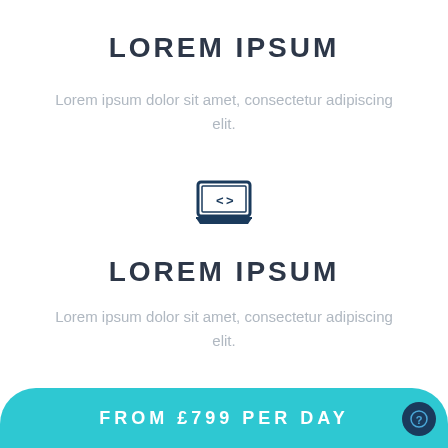LOREM IPSUM
Lorem ipsum dolor sit amet, consectetur adipiscing elit.
[Figure (illustration): Icon of a laptop computer with code brackets on the screen]
LOREM IPSUM
Lorem ipsum dolor sit amet, consectetur adipiscing elit.
FROM £799 PER DAY